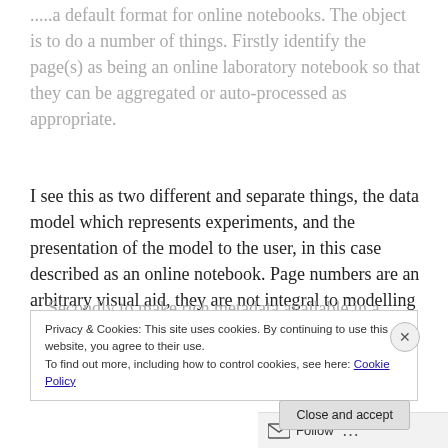.....a default format for online notebooks. The object is to do a number of things. Firstly identify the page(s) as being an online laboratory notebook so that they can be aggregated or auto-processed as appropriate.
I see this as two different and separate things, the data model which represents experiments, and the presentation of the model to the user, in this case described as an online notebook. Page numbers are an arbitrary visual aid, they are not integral to modelling experiments
…Secondly to make rich metadata available in a human
Privacy & Cookies: This site uses cookies. By continuing to use this website, you agree to their use.
To find out more, including how to control cookies, see here: Cookie Policy
Close and accept
Follow